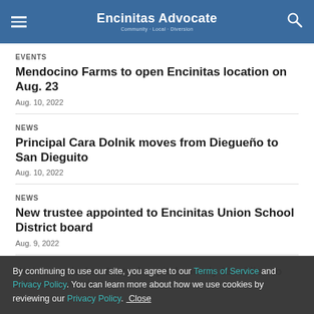Encinitas Advocate
EVENTS
Mendocino Farms to open Encinitas location on Aug. 23
Aug. 10, 2022
NEWS
Principal Cara Dolnik moves from Diegueño to San Dieguito
Aug. 10, 2022
NEWS
New trustee appointed to Encinitas Union School District board
Aug. 9, 2022
State awards San Diego hospitals nearly $1 million to address opioid use
Aug. 9, 2022
By continuing to use our site, you agree to our Terms of Service and Privacy Policy. You can learn more about how we use cookies by reviewing our Privacy Policy. Close